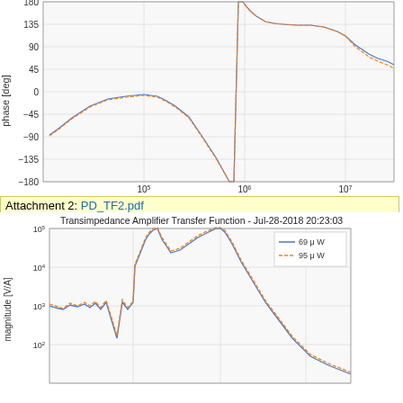[Figure (continuous-plot): Phase plot of a transfer function. Y-axis: phase [deg] from -180 to 180. X-axis: frequency [Hz] from ~10^4 to ~3*10^7. Two overlapping curves (blue and orange/dashed) showing phase starting around -75 deg, rising to near 0, then dropping to -180, jumping to +180, then settling around 135-150 deg before declining to ~90 deg and becoming noisy at high frequencies.]
Attachment 2: PD_TF2.pdf
[Figure (continuous-plot): Transimpedance Amplifier Transfer Function - Jul-28-2018 20:23:03. Y-axis: magnitude [V/A] on log scale from ~10^1 to 10^5. X-axis: frequency (implied). Two curves: blue solid (69 µW) and orange dashed (95 µW). Magnitude starts around 10^3, dips, rises sharply to ~10^5 peak, then falls off. Legend shows 69 µW (blue solid) and 95 µW (orange dashed).]